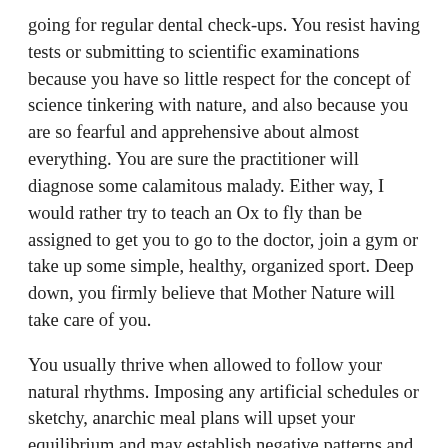going for regular dental check-ups. You resist having tests or submitting to scientific examinations because you have so little respect for the concept of science tinkering with nature, and also because you are so fearful and apprehensive about almost everything. You are sure the practitioner will diagnose some calamitous malady. Either way, I would rather try to teach an Ox to fly than be assigned to get you to go to the doctor, join a gym or take up some simple, healthy, organized sport. Deep down, you firmly believe that Mother Nature will take care of you.
You usually thrive when allowed to follow your natural rhythms. Imposing any artificial schedules or sketchy, anarchic meal plans will upset your equilibrium and may establish negative patterns and undermine your sound metabolic structure.
You are of a compact, hardy nature with tremendous power of endurance. All of this constitutes a natural